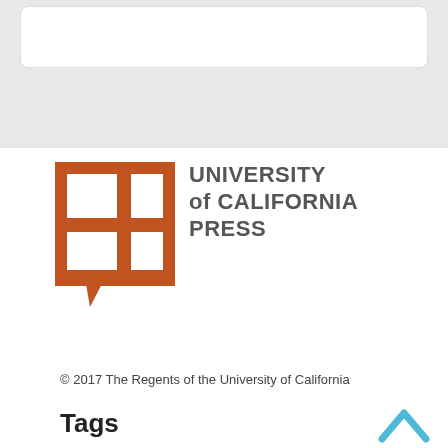[Figure (logo): University of California Press logo — orange/brown square grid icon with speech bubble tail, next to bold gray text reading UNIVERSITY of CALIFORNIA PRESS]
© 2017 The Regents of the University of California
Tags
agriculture Asia Bob Valgenti chef's pages chefs China colonialism consumerism